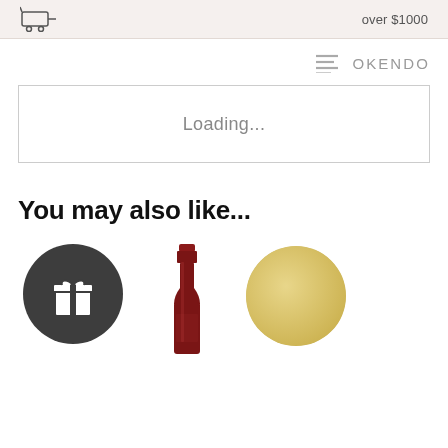[Figure (other): Cart/truck icon at top left of page header banner]
over $1000
[Figure (logo): Okendo logo with stacked lines icon on the right side]
Loading...
You may also like...
[Figure (other): Dark circular gift box icon product thumbnail]
[Figure (other): Red wine bottle top/cap product thumbnail]
[Figure (other): Partially visible third product thumbnail (circular/golden)]